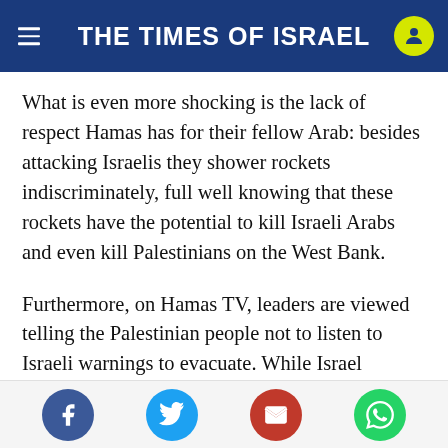THE TIMES OF ISRAEL
What is even more shocking is the lack of respect Hamas has for their fellow Arab: besides attacking Israelis they shower rockets indiscriminately, full well knowing that these rockets have the potential to kill Israeli Arabs and even kill Palestinians on the West Bank.
Furthermore, on Hamas TV, leaders are viewed telling the Palestinian people not to listen to Israeli warnings to evacuate. While Israel informs civilians to evacuate, even advising them where to go to find safe areas, Hamas tell their people to stay at home. Is there another army in the entire
Facebook, Twitter, Email, WhatsApp share buttons